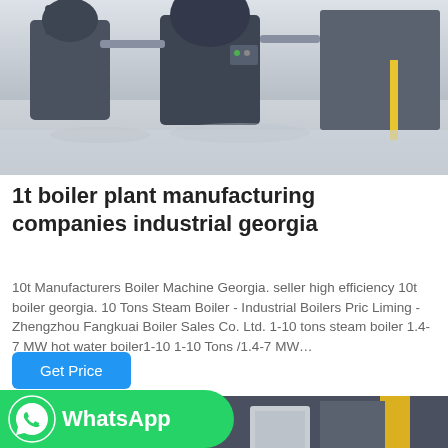[Figure (photo): Industrial boiler room with multiple large dark-colored boiler units on a shiny floor]
1t boiler plant manufacturing companies industrial georgia
10t Manufacturers Boiler Machine Georgia. seller high efficiency 10t boiler georgia. 10 Tons Steam Boiler - Industrial Boilers Pric Liming - Zhengzhou Fangkuai Boiler Sales Co. Ltd. 1-10 tons steam boiler 1.4-7 MW hot water boiler1-10 1-10 Tons /1.4-7 MW…
Get Price
[Figure (photo): Industrial boiler facility with yellow pipes and machinery visible]